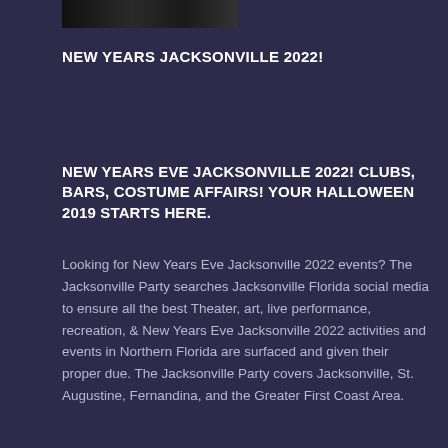[Figure (photo): A dark photo strip showing a nighttime scene, partially visible at top of page]
NEW YEARS JACKSONVILLE 2022!
NEW YEARS EVE JACKSONVILLE 2022! CLUBS, BARS, COSTUME AFFAIRS! YOUR HALLOWEEN 2019 STARTS HERE.
Looking for New Years Eve Jacksonville 2022 events? The Jacksonville Party searches Jacksonville Florida social media to ensure all the best Theater, art, live performance, recreation, & New Years Eve Jacksonville 2022 activities and events in Northern Florida are surfaced and given their proper due. The Jacksonville Party covers Jacksonville, St. Augustine, Fernandina, and the Greater First Coast Area.